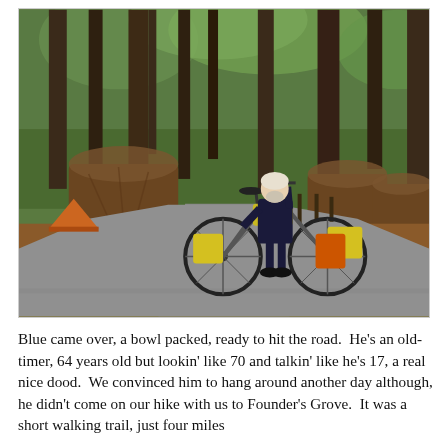[Figure (photo): An older man with a white beard and helmet stands next to a heavily loaded touring bicycle on a paved path in a redwood forest. The bike has multiple yellow and orange panniers. Large redwood stumps and tall trees are visible in the background.]
Blue came over, a bowl packed, ready to hit the road.  He's an old-timer, 64 years old but lookin' like 70 and talkin' like he's 17, a real nice dood.  We convinced him to hang around another day although, he didn't come on our hike with us to Founder's Grove.  It was a short walking trail, just four miles